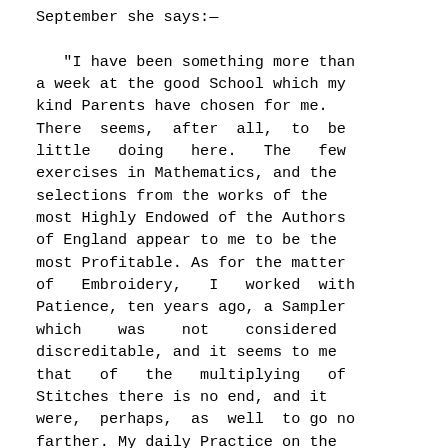September she says:—

   "I have been something more than a week at the good School which my kind Parents have chosen for me. There seems, after all, to be little doing here.  The few exercises in Mathematics, and the selections from the works of the most Highly Endowed of the Authors of England appear to me to be the most Profitable. As for the matter of  Embroidery,  I  worked  with Patience, ten years ago, a Sampler which    was    not    considered discreditable, and it seems to me that   of   the   multiplying   of Stitches there is no end, and it were,  perhaps,  as  well  to  go  no farther. My daily Practice on the Spinet, may, perhaps, be the means of giving Pleasure at some Future Time, but it is the Occasion of but little Benefit in the Present, and of the Future can we be never